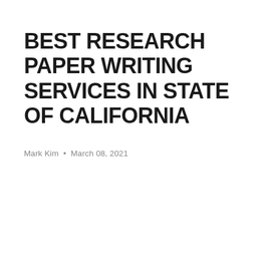BEST RESEARCH PAPER WRITING SERVICES IN STATE OF CALIFORNIA
Mark Kim • March 08, 2021